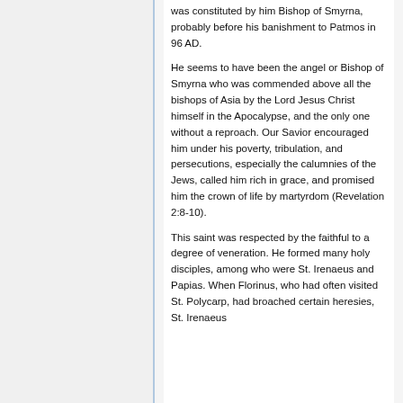was constituted by him Bishop of Smyrna, probably before his banishment to Patmos in 96 AD.
He seems to have been the angel or Bishop of Smyrna who was commended above all the bishops of Asia by the Lord Jesus Christ himself in the Apocalypse, and the only one without a reproach. Our Savior encouraged him under his poverty, tribulation, and persecutions, especially the calumnies of the Jews, called him rich in grace, and promised him the crown of life by martyrdom (Revelation 2:8-10).
This saint was respected by the faithful to a degree of veneration. He formed many holy disciples, among who were St. Irenaeus and Papias. When Florinus, who had often visited St. Polycarp, had broached certain heresies, St. Irenaeus